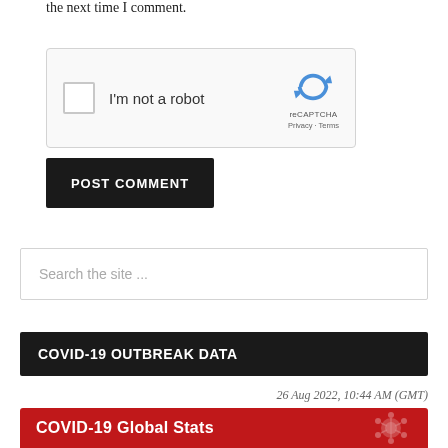the next time I comment.
[Figure (screenshot): reCAPTCHA widget with checkbox labeled 'I'm not a robot' and reCAPTCHA logo with Privacy - Terms links]
POST COMMENT
Search the site ...
COVID-19 OUTBREAK DATA
26 Aug 2022, 10:44 AM (GMT)
COVID-19 Global Stats